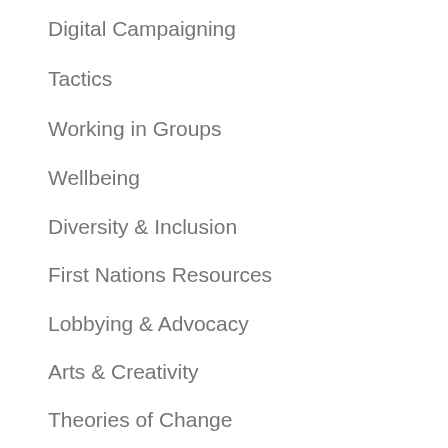Digital Campaigning
Tactics
Working in Groups
Wellbeing
Diversity & Inclusion
First Nations Resources
Lobbying & Advocacy
Arts & Creativity
Theories of Change
Coalition Building
Management
Research & Archiving
Fundraising